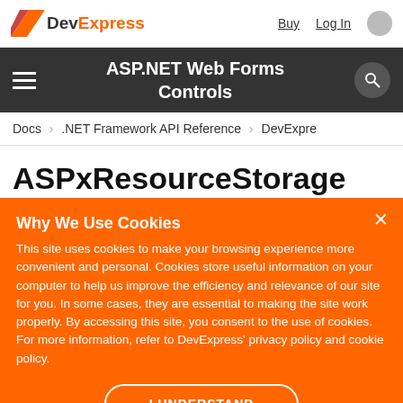DevExpress — Buy  Log In
ASP.NET Web Forms Controls
Docs › .NET Framework API Reference › DevExpre
ASPxResourceStorage
Why We Use Cookies
This site uses cookies to make your browsing experience more convenient and personal. Cookies store useful information on your computer to help us improve the efficiency and relevance of our site for you. In some cases, they are essential to making the site work properly. By accessing this site, you consent to the use of cookies. For more information, refer to DevExpress' privacy policy and cookie policy.
I UNDERSTAND